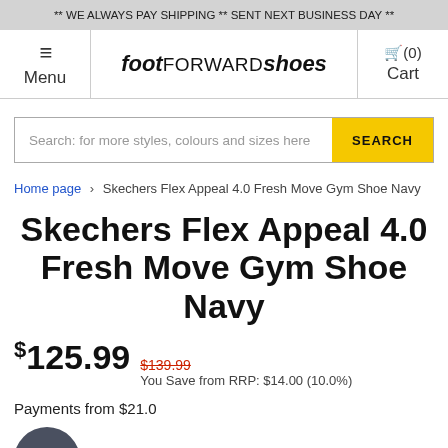** WE ALWAYS PAY SHIPPING ** SENT NEXT BUSINESS DAY **
[Figure (logo): Foot Forward Shoes navigation bar with hamburger menu, logo, and cart icon]
Search: for more styles, colours and sizes here
Home page › Skechers Flex Appeal 4.0 Fresh Move Gym Shoe Navy
Skechers Flex Appeal 4.0 Fresh Move Gym Shoe Navy
$125.99  $139.99  You Save from RRP: $14.00 (10.0%)
Payments from $21.0
[Figure (logo): Payment options: gift icon with BUY NOW, Zip, and Afterpay logos]